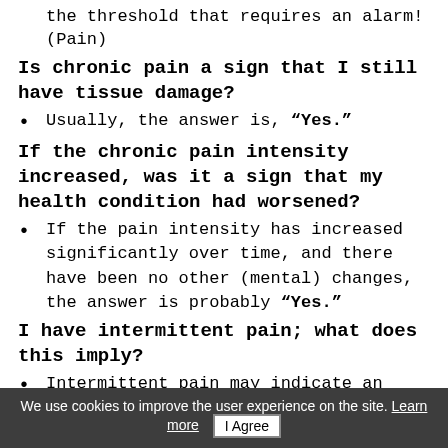the threshold that requires an alarm! (Pain)
Is chronic pain a sign that I still have tissue damage?
Usually, the answer is, “Yes.”
If the chronic pain intensity increased, was it a sign that my health condition had worsened?
If the pain intensity has increased significantly over time, and there have been no other (mental) changes, the answer is probably “Yes.”
I have intermittent pain; what does this imply?
Intermittent pain may indicate an unstable
We use cookies to improve the user experience on the site. Learn more   I Agree